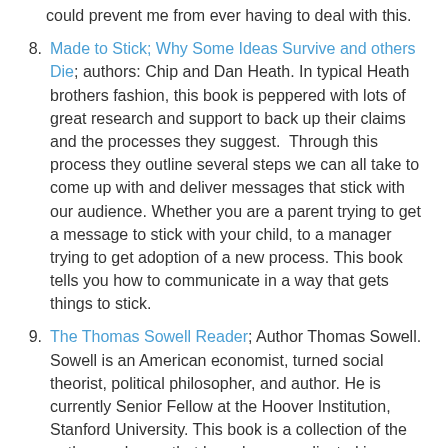could prevent me from ever having to deal with this.
Made to Stick; Why Some Ideas Survive and others Die; authors: Chip and Dan Heath. In typical Heath brothers fashion, this book is peppered with lots of great research and support to back up their claims and the processes they suggest.  Through this process they outline several steps we can all take to come up with and deliver messages that stick with our audience. Whether you are a parent trying to get a message to stick with your child, to a manager trying to get adoption of a new process. This book tells you how to communicate in a way that gets things to stick.
The Thomas Sowell Reader; Author Thomas Sowell.  Sowell is an American economist, turned social theorist, political philosopher, and author. He is currently Senior Fellow at the Hoover Institution, Stanford University. This book is a collection of the authors columns that have been syndicated in Newspapers for the last forty years, and our still being distributed.  Sowell's opinions on everything